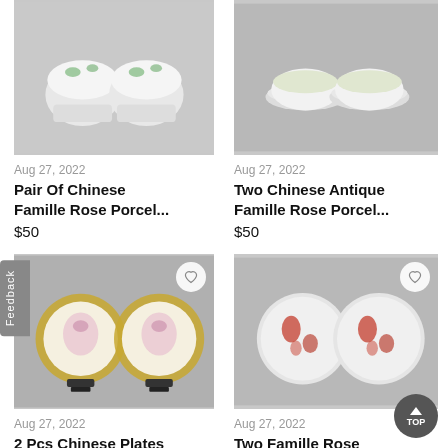[Figure (photo): Two Chinese Famille Rose porcelain cups/bowls with green and red floral decoration on white background]
Aug 27, 2022
Pair Of Chinese Famille Rose Porcel...
$50
[Figure (photo): Two Chinese Antique Famille Rose porcelain saucers/plates on grey background]
Aug 27, 2022
Two Chinese Antique Famille Rose Porcel...
$50
[Figure (photo): Two decorative Chinese plates with gold borders and floral pink/purple botanical painting, displayed on black stands]
Aug 27, 2022
2 Pcs Chinese Plates
$30
[Figure (photo): Two Famille Rose porcelain saucers with red floral/pomegranate decoration on white background]
Aug 27, 2022
Two Famille Rose Porcelain Saucers...